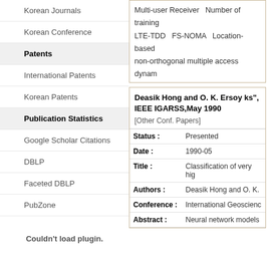Korean Journals
Korean Conference
Patents
International Patents
Korean Patents
Publication Statistics
Google Scholar Citations
DBLP
Faceted DBLP
PubZone
Couldn't load plugin.
Multi-user Receiver    Number of training  LTE-TDD    FS-NOMA    Location-based  non-orthogonal multiple access    dynam  non-orthogonal multiple access (NOMA)  resource selection    maximum likelihood
Deasik Hong and O. K. Ersoy ks", IEEE IGARSS,May 1990
[Other Conf. Papers]
| Field | Value |
| --- | --- |
| Status : | Presented |
| Date : | 1990-05 |
| Title : | Classification of very hig |
| Authors : | Deasik Hong and O. K. |
| Conference : | International Geoscienc |
| Abstract : | Neural network models |